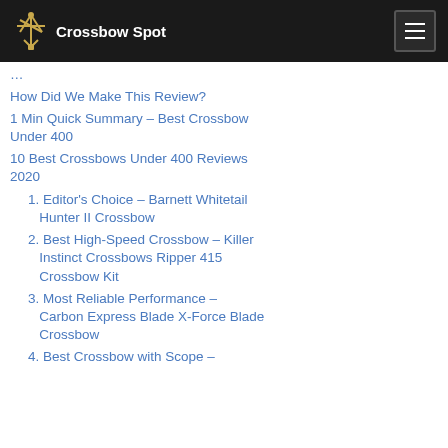Crossbow Spot
How Did We Make This Review?
1 Min Quick Summary – Best Crossbow Under 400
10 Best Crossbows Under 400 Reviews 2020
1. Editor's Choice – Barnett Whitetail Hunter II Crossbow
2. Best High-Speed Crossbow – Killer Instinct Crossbows Ripper 415 Crossbow Kit
3. Most Reliable Performance – Carbon Express Blade X-Force Blade Crossbow
4. Best Crossbow with Scope –